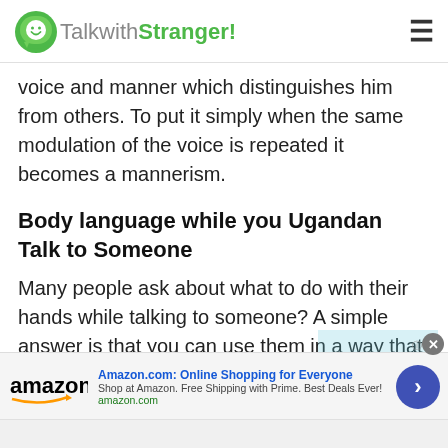TalkwithStranger!
voice and manner which distinguishes him from others. To put it simply when the same modulation of the voice is repeated it becomes a mannerism.
Body language while you Ugandan Talk to Someone
Many people ask about what to do with their hands while talking to someone? A simple answer is that you can use them in a way that best suits your speaking style. You can rest your arms on the table or make a loose fist and let them hang or you can use one hand while resting the other or use both of them at the same time for gesturing
[Figure (screenshot): Amazon advertisement banner with logo, title 'Amazon.com: Online Shopping for Everyone', subtitle 'Shop at Amazon. Free Shipping with Prime. Best Deals Ever!', url 'amazon.com', navigation arrow button, and close button]